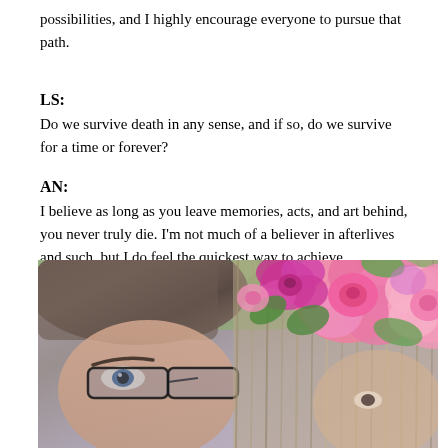possibilities, and I highly encourage everyone to pursue that path.
LS:
Do we survive death in any sense, and if so, do we survive for a time or forever?
AN:
I believe as long as you leave memories, acts, and art behind, you never truly die. I’m not much of a believer in afterlives and such, but I do feel the quickest way to achieve immortality is to leave a tangible piece of your life for future generations to study.
[Figure (photo): A close-up selfie of two people, one with short hair wearing glasses on the left and one with long hair on the right, with a pink flower crown/filter overlay featuring pink and magenta roses with green leaves]